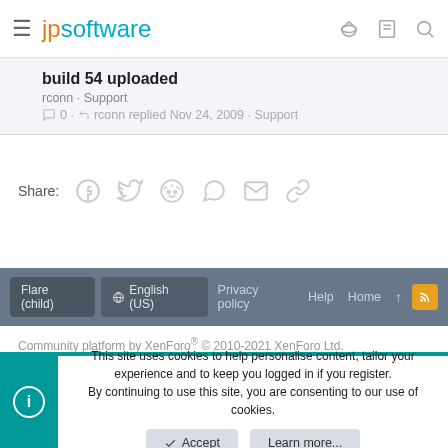jpsoftware
build 54 uploaded
rconn · Support
0 · rconn replied Nov 24, 2009 · Support
Share:
Flare (child)  English (US)  Privacy policy  Help  Home
Community platform by XenForo® © 2010-2021 XenForo Ltd.
This site uses cookies to help personalise content, tailor your experience and to keep you logged in if you register.
By continuing to use this site, you are consenting to our use of cookies.